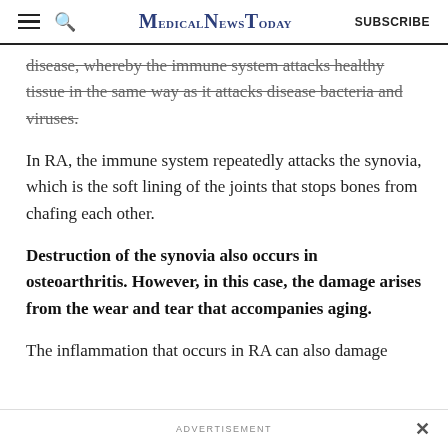MedicalNewsToday  SUBSCRIBE
disease, whereby the immune system attacks healthy tissue in the same way as it attacks disease bacteria and viruses.
In RA, the immune system repeatedly attacks the synovia, which is the soft lining of the joints that stops bones from chafing each other.
Destruction of the synovia also occurs in osteoarthritis. However, in this case, the damage arises from the wear and tear that accompanies aging.
The inflammation that occurs in RA can also damage
ADVERTISEMENT